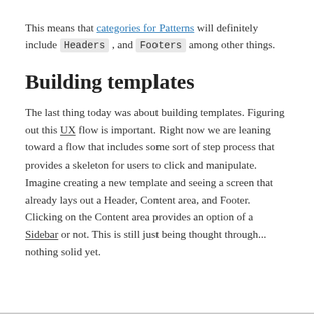This means that categories for Patterns will definitely include Headers , and Footers among other things.
Building templates
The last thing today was about building templates. Figuring out this UX flow is important. Right now we are leaning toward a flow that includes some sort of step process that provides a skeleton for users to click and manipulate. Imagine creating a new template and seeing a screen that already lays out a Header, Content area, and Footer. Clicking on the Content area provides an option of a Sidebar or not. This is still just being thought through... nothing solid yet.